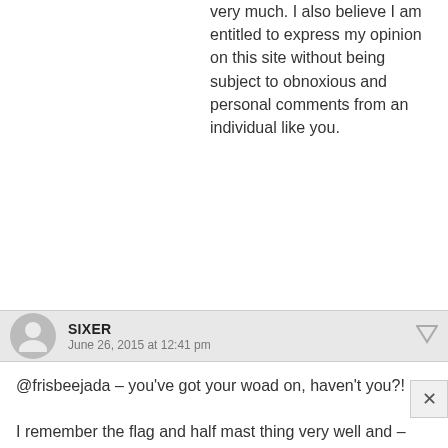very much. I also believe I am entitled to express my opinion on this site without being subject to obnoxious and personal comments from an individual like you.
SIXER
June 26, 2015 at 12:41 pm
@frisbeejada – you've got your woad on, haven't you?!

I remember the flag and half mast thing very well and – regardless of protocol – it was a major misjudgment by ER, however upset you were or you weren't by Diana's death. I think we all know by now that I don't GAF about the royals, aside from being annoyed by them, or hold any particular candle for Diana, but even I thought the spontaneous expression of grief by a gazillion citizens